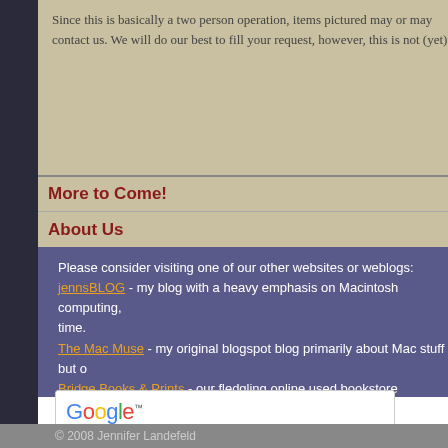Since this is basically a two person operation, items pictured may or may not contact us. We will do our best to fill your request, however, this is not (yet)
More to Come!
About Us
Please consider visiting one of our other websites or weblogs: jennsBLOG - my blog with a heavy emphasis on Macintosh computing, time. The Mac Muse - my original blogspot blog primarily about Mac stuff but o Bridge Books & Prints - our fledgling online used bookstore
[Figure (screenshot): Google search widget with search input, Search button, and radio buttons for Web and www.yeoldbasketcase.com]
© 2008 Jennifer Landefeld